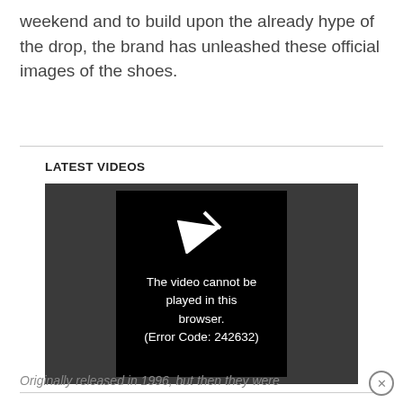weekend and to build upon the already hype of the drop, the brand has unleashed these official images of the shoes.
LATEST VIDEOS
[Figure (screenshot): Video player showing error message: 'The video cannot be played in this browser. (Error Code: 242632)']
Originally released in 1996, but then they were